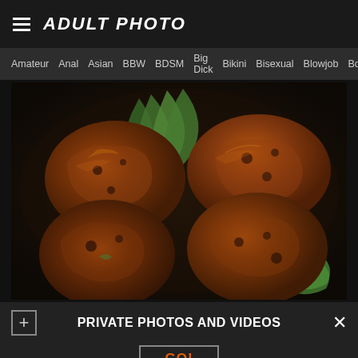ADULT PHOTO
Amateur  Anal  Asian  BBW  BDSM  Big Dick  Bikini  Bisexual  Blowjob  Boobs
[Figure (photo): Close-up photo of glazed chicken thighs with bok choy in a dark cast iron skillet]
PRIVATE PHOTOS AND VIDEOS
GO!